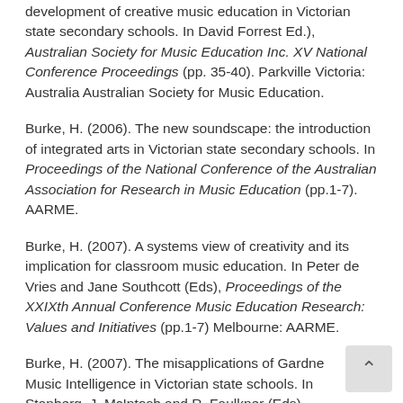development of creative music education in Victorian state secondary schools. In David Forrest Ed.), Australian Society for Music Education Inc. XV National Conference Proceedings (pp. 35-40). Parkville Victoria: Australia Australian Society for Music Education.
Burke, H. (2006). The new soundscape: the introduction of integrated arts in Victorian state secondary schools. In Proceedings of the National Conference of the Australian Association for Research in Music Education (pp.1-7). AARME.
Burke, H. (2007). A systems view of creativity and its implication for classroom music education. In Peter de Vries and Jane Southcott (Eds), Proceedings of the XXIXth Annual Conference Music Education Research: Values and Initiatives (pp.1-7) Melbourne: AARME.
Burke, H. (2007). The misapplications of Gardner's Music Intelligence in Victorian state schools. In Stanberg, J. McIntosh and R. Faulkner (Eds), Celebration Musical Communities: Proceedings of the...